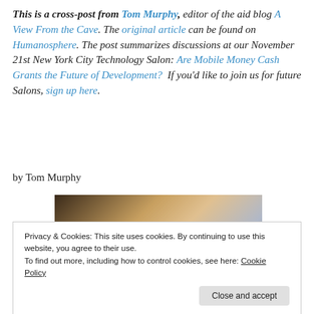This is a cross-post from Tom Murphy, editor of the aid blog A View From the Cave. The original article can be found on Humanosphere. The post summarizes discussions at our November 21st New York City Technology Salon: Are Mobile Money Cash Grants the Future of Development? If you'd like to join us for future Salons, sign up here.
by Tom Murphy
[Figure (photo): A dark photo showing people, partially visible, with warm and cool tones.]
Privacy & Cookies: This site uses cookies. By continuing to use this website, you agree to their use. To find out more, including how to control cookies, see here: Cookie Policy